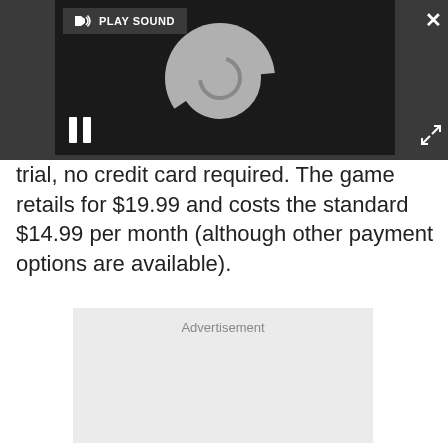[Figure (screenshot): A dark-themed video/audio player UI with a loading circle spinner, pause button (two vertical bars), a 'PLAY SOUND' button with speaker icon in the top-left, and an X close button and expand arrows icon on the right side.]
trial, no credit card required. The game retails for $19.99 and costs the standard $14.99 per month (although other payment options are available).
[Figure (other): Advertisement placeholder box with light gray background and the text 'Advertisement' centered near the top.]